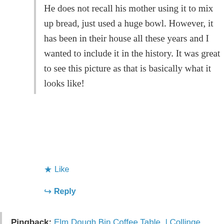He does not recall his mother using it to mix up bread, just used a huge bowl. However, it has been in their house all these years and I wanted to include it in the history. It was great to see this picture as that is basically what it looks like!
★ Like
↳ Reply
Pingback: Elm Dough Bin Coffee Table. | Collinge Antiques
Filomena
October 10, 2013 at 5:25 am